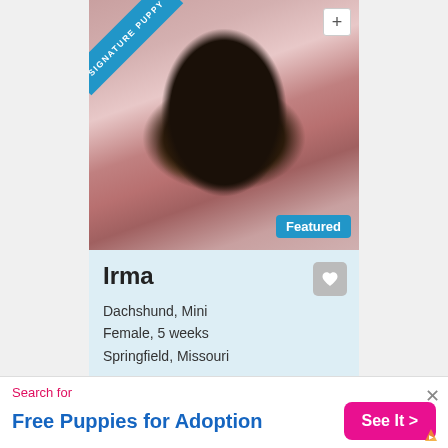[Figure (photo): A newborn/very young black and tan Dachshund puppy lying on a pink quilted blanket, with a blue 'SIGNATURE PUPPY' diagonal ribbon banner in the top-left corner, a '+' button top-right, and a blue 'Featured' badge bottom-right.]
Irma
Dachshund, Mini
Female, 5 weeks
Springfield, Missouri
Learn more >
*Payments as low as $73.79 / mo
Search for
Free Puppies for Adoption
See It >